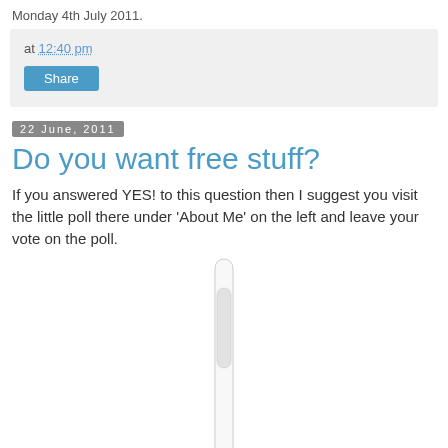Monday 4th July 2011.
at 12:40 pm
Share
22 June, 2011
Do you want free stuff?
If you answered YES! to this question then I suggest you visit the little poll there under 'About Me' on the left and leave your vote on the poll.
[Figure (other): Vertical scroll bar element]
Why should I? I hear you ask...